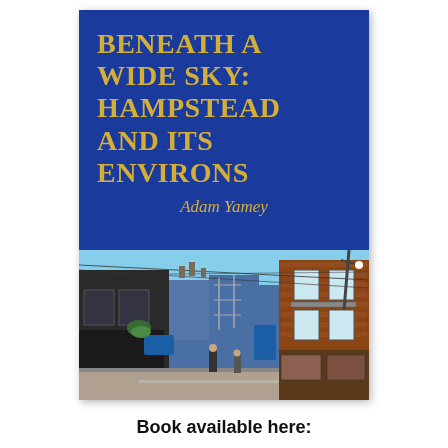[Figure (illustration): Book cover for 'Beneath a Wide Sky: Hampstead and Its Environs' by Adam Yamey. Blue background with gold title text at top, author name in gold italic in middle, and a photograph of a Hampstead street scene with brick buildings and shops at the bottom.]
Book available here: